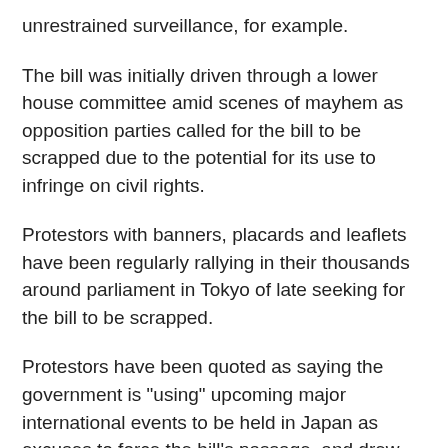unrestrained surveillance, for example.
The bill was initially driven through a lower house committee amid scenes of mayhem as opposition parties called for the bill to be scrapped due to the potential for its use to infringe on civil rights.
Protestors with banners, placards and leaflets have been regularly rallying in their thousands around parliament in Tokyo of late seeking for the bill to be scrapped.
Protestors have been quoted as saying the government is "using" upcoming major international events to be held in Japan as excuses to force the bill's passage, and drew similarities with Abe's Liberal Democratic Party (LDP)-led thrusting of controversial security legislation through both chambers of parliament, which has vastly changed the